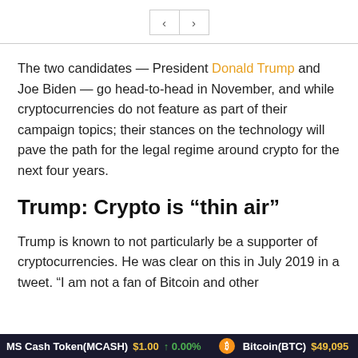[Figure (screenshot): Navigation bar with left and right arrow buttons]
The two candidates — President Donald Trump and Joe Biden — go head-to-head in November, and while cryptocurrencies do not feature as part of their campaign topics; their stances on the technology will pave the path for the legal regime around crypto for the next four years.
Trump: Crypto is “thin air”
Trump is known to not particularly be a supporter of cryptocurrencies. He was clear on this in July 2019 in a tweet. “I am not a fan of Bitcoin and other
MS Cash Token(MCASH) $1.00 ↑ 0.00% Bitcoin(BTC) $49,095